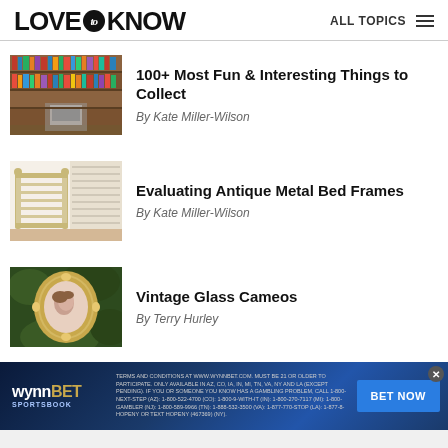LoveToKnow — ALL TOPICS
[Figure (photo): Library room with bookshelves and a typewriter on a metal chair]
100+ Most Fun & Interesting Things to Collect
By Kate Miller-Wilson
[Figure (photo): Antique metal bed frame with white/cream finish in a bright room]
Evaluating Antique Metal Bed Frames
By Kate Miller-Wilson
[Figure (photo): Vintage glass cameo in a gold ornate oval frame]
Vintage Glass Cameos
By Terry Hurley
WynnBET SPORTSBOOK — TERMS AND CONDITIONS AT WWW.WYNNBET.COM. MUST BE 21 OR OLDER TO PARTICIPATE. ONLY AVAILABLE IN AZ, CO, IA, IN, MI, TN, VA, NY AND LA (EXCEPT PENDING). IF YOU OR SOMEONE YOU KNOW HAS A GAMBLING PROBLEM, CALL 1-800-NEXT-STEP (AZ): 1-800-522-4700 (CO): 1-800-9-WITH-IT (IN): 1-800-270-7117 (MI): 1-800-GAMBLER (NJ): 1-800-589-9966 (TN): 1-888-532-3500 (VA): 1-877-770-STOP (LA): 1-877-8-HOPENY OR TEXT HOPENY (467369) (NY). BET NOW